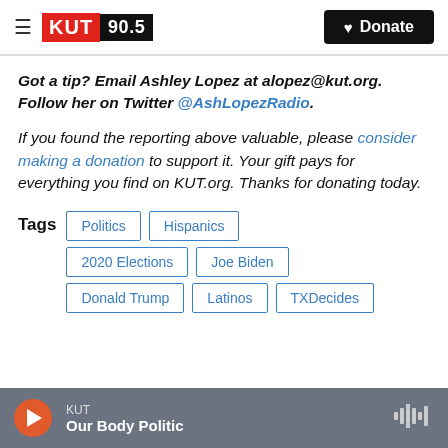KUT 90.5 | Donate
Got a tip? Email Ashley Lopez at alopez@kut.org. Follow her on Twitter @AshLopezRadio.
If you found the reporting above valuable, please consider making a donation to support it. Your gift pays for everything you find on KUT.org. Thanks for donating today.
Tags: Politics, Hispanics, 2020 Elections, Joe Biden, Donald Trump, Latinos, TXDecides
KUT — Our Body Politic